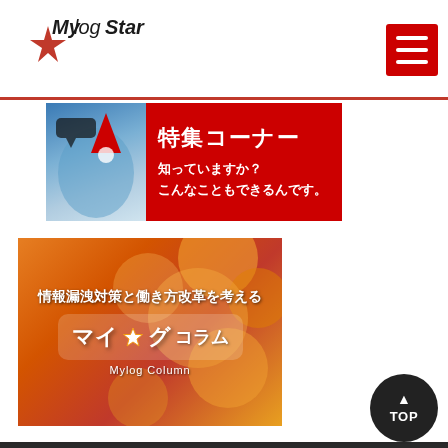MylogStar
[Figure (screenshot): 特集コーナー banner - 知っていますか？こんなこともできるんです。]
[Figure (screenshot): 情報漏洩対策と働き方改革を考える マイ★グ コラム Mylog Column banner]
Footer navigation links in dark background with TOP button